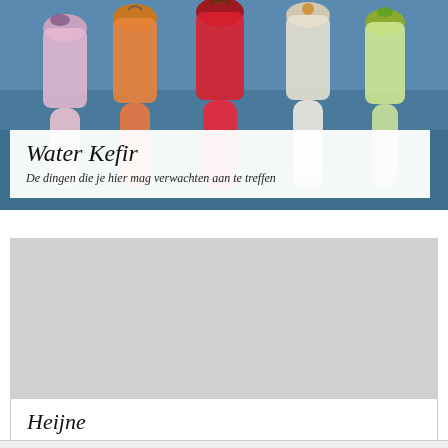[Figure (photo): Five glass bottles filled with colorful kefir drinks (pink, orange-red, red, white/clear, and green-infused water kefir), photographed against a blue water background, viewed from above at an angle.]
Water Kefir
De dingen die je hier mag verwachten aan te treffen
[Figure (photo): Gray placeholder rectangle representing an image area.]
Heijne